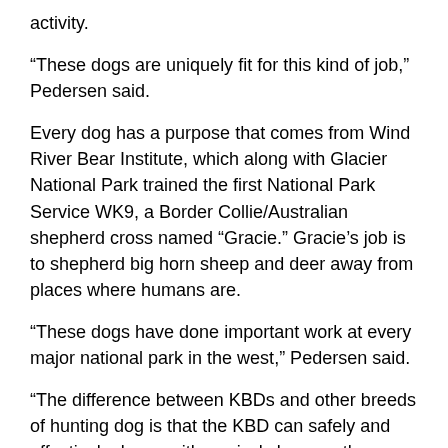activity.
“These dogs are uniquely fit for this kind of job,” Pedersen said.
Every dog has a purpose that comes from Wind River Bear Institute, which along with Glacier National Park trained the first National Park Service WK9, a Border Collie/Australian shepherd cross named “Gracie.” Gracie’s job is to shepherd big horn sheep and deer away from places where humans are.
“These dogs have done important work at every major national park in the west,” Pedersen said.
“The difference between KBDs and other breeds of hunting dog is that the KBD can safely and effectively dance with a grizzly bear on the ground and hold the bear at bay.”
The institute has been working for 25 years and have never had a major injury to a dog, person or bear.
Pedersen said that determining when the use of WK9s is